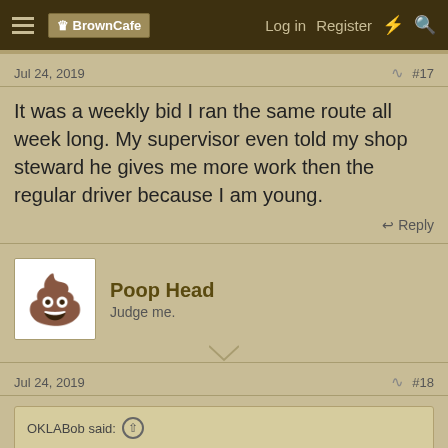BrownCafe | Log in | Register
Jul 24, 2019  #17
It was a weekly bid I ran the same route all week long. My supervisor even told my shop steward he gives me more work then the regular driver because I am young.
Poop Head
Judge me.
Jul 24, 2019  #18
OKLABob said:
They are getting another one this week. 85 stops 280 miles everyday so far this week